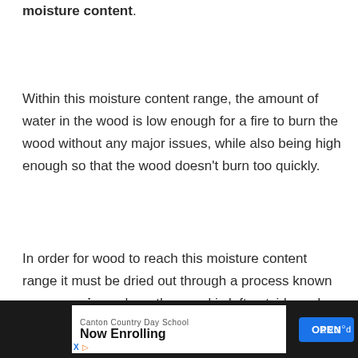moisture content.
Within this moisture content range, the amount of water in the wood is low enough for a fire to burn the wood without any major issues, while also being high enough so that the wood doesn't burn too quickly.
In order for wood to reach this moisture content range it must be dried out through a process known as seasoning, where the wood is left outside under the right conditions to help
[Figure (other): Advertisement banner for Canton Country Day School - Now Enrolling with OPEN button]